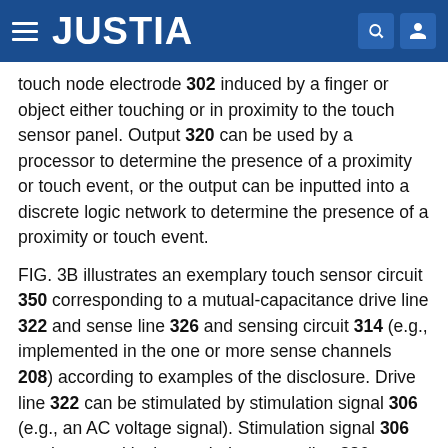JUSTIA
touch node electrode 302 induced by a finger or object either touching or in proximity to the touch sensor panel. Output 320 can be used by a processor to determine the presence of a proximity or touch event, or the output can be inputted into a discrete logic network to determine the presence of a proximity or touch event.
FIG. 3B illustrates an exemplary touch sensor circuit 350 corresponding to a mutual-capacitance drive line 322 and sense line 326 and sensing circuit 314 (e.g., implemented in the one or more sense channels 208) according to examples of the disclosure. Drive line 322 can be stimulated by stimulation signal 306 (e.g., an AC voltage signal). Stimulation signal 306 can be capacitively coupled to sense line 326 through mutual capacitance 324 between drive line 322 and the sense line. When a